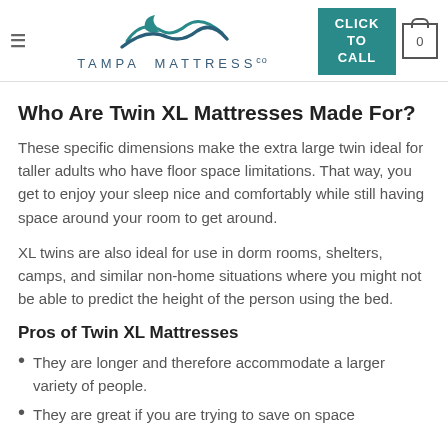Tampa Mattress Co — CLICK TO CALL — 0
Who Are Twin XL Mattresses Made For?
These specific dimensions make the extra large twin ideal for taller adults who have floor space limitations. That way, you get to enjoy your sleep nice and comfortably while still having space around your room to get around.
XL twins are also ideal for use in dorm rooms, shelters, camps, and similar non-home situations where you might not be able to predict the height of the person using the bed.
Pros of Twin XL Mattresses
They are longer and therefore accommodate a larger variety of people.
They are great if you are trying to save on space